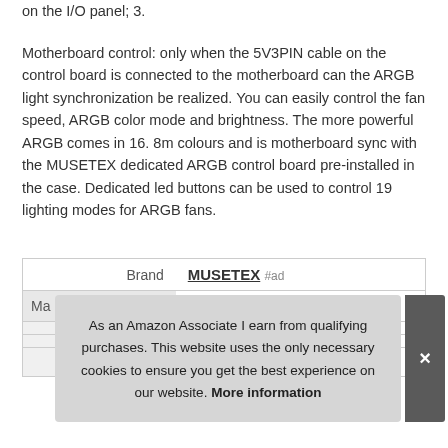on the I/O panel; 3.
Motherboard control: only when the 5V3PIN cable on the control board is connected to the motherboard can the ARGB light synchronization be realized. You can easily control the fan speed, ARGB color mode and brightness. The more powerful ARGB comes in 16. 8m colours and is motherboard sync with the MUSETEX dedicated ARGB control board pre-installed in the case. Dedicated led buttons can be used to control 19 lighting modes for ARGB fans.
|  |  |
| --- | --- |
| Brand | MUSETEX #ad |
| Ma... |  |
|  |  |
|  |  |
| Height | ... |
As an Amazon Associate I earn from qualifying purchases. This website uses the only necessary cookies to ensure you get the best experience on our website. More information